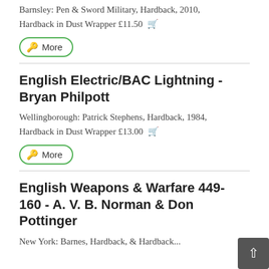Barnsley: Pen & Sword Military, Hardback, 2010, Hardback in Dust Wrapper £11.50
More
English Electric/BAC Lightning - Bryan Philpott
Wellingborough: Patrick Stephens, Hardback, 1984, Hardback in Dust Wrapper £13.00
More
English Weapons & Warfare 449-160 - A. V. B. Norman & Don Pottinger
New York: Barnes, Hardback in Dust Wrapper...